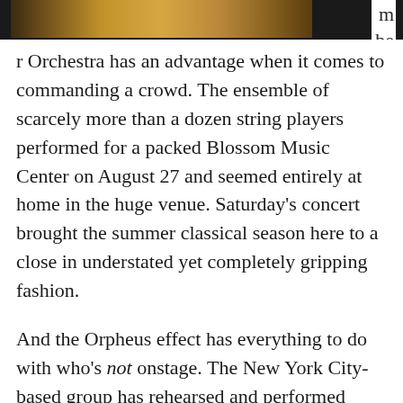[Figure (photo): Partial image of a stringed instrument (violin/cello) at the top of the page]
m be
r Orchestra has an advantage when it comes to commanding a crowd. The ensemble of scarcely more than a dozen string players performed for a packed Blossom Music Center on August 27 and seemed entirely at home in the huge venue. Saturday's concert brought the summer classical season here to a close in understated yet completely gripping fashion.
And the Orpheus effect has everything to do with who's not onstage. The New York City-based group has rehearsed and performed without a conductor since its founding in 1972, and this means its members share the musical authority that typically rests with one person. Multiplied by a dozen or so, the interpretation of a piece suddenly emanates from every player, from the concertmaster to the double bass, resonating with a kind of collective power. [Read on...]